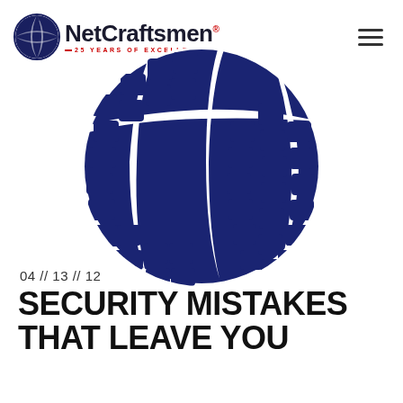NetCraftsmen · 25 Years of Excellence
[Figure (logo): NetCraftsmen globe logo with checkerboard pattern in dark navy blue]
04 // 13 // 12
SECURITY MISTAKES THAT LEAVE YOU